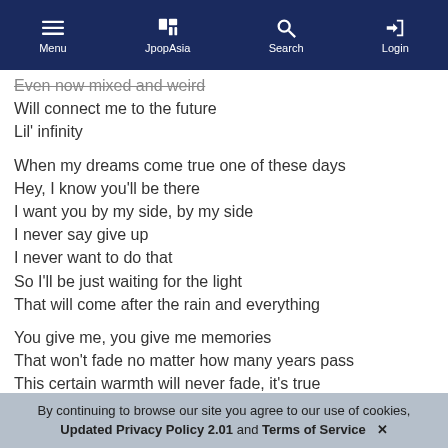Menu | JpopAsia | Search | Login
Even now mixed and weird
Will connect me to the future
Lil' infinity
When my dreams come true one of these days
Hey, I know you'll be there
I want you by my side, by my side
I never say give up
I never want to do that
So I'll be just waiting for the light
That will come after the rain and everything
You give me, you give me memories
That won't fade no matter how many years pass
This certain warmth will never fade, it's true
I want to run with all my strength
With you through the countless dreams before us
You're the only one, the only one
By continuing to browse our site you agree to our use of cookies, Updated Privacy Policy 2.01 and Terms of Service ✕